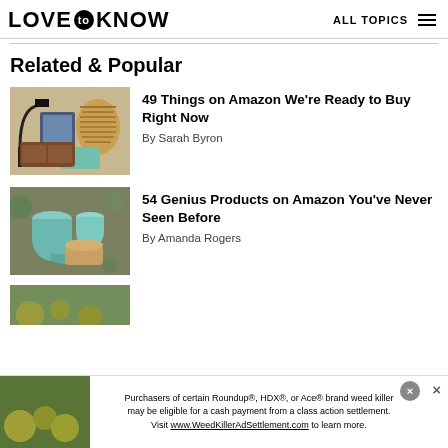LOVE to KNOW  ALL TOPICS
Related & Popular
49 Things on Amazon We're Ready to Buy Right Now — By Sarah Byron
54 Genius Products on Amazon You've Never Seen Before — By Amanda Rogers
[Figure (photo): Ad banner: Purchasers of certain Roundup®, HDX®, or Ace® brand weed killer may be eligible for a cash payment from a class action settlement. Visit www.WeedKillerAdSettlement.com to learn more.]